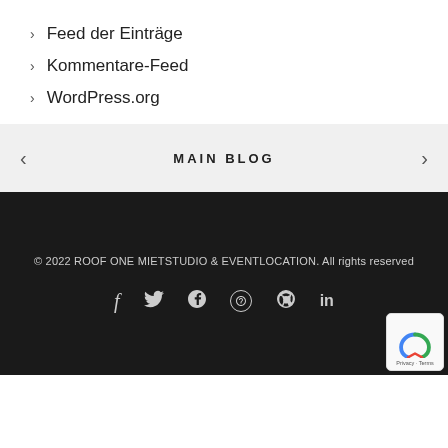Feed der Einträge
Kommentare-Feed
WordPress.org
< MAIN BLOG >
© 2022 ROOF ONE MIETSTUDIO & EVENTLOCATION. All rights reserved